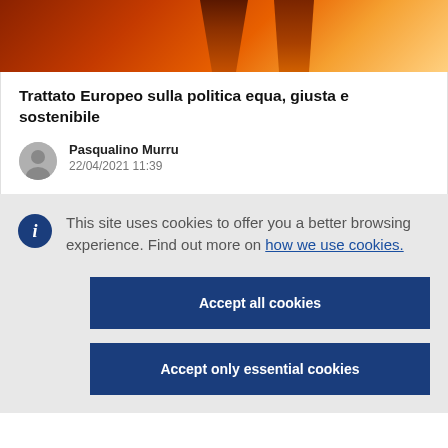[Figure (photo): Abstract orange/red architectural background image showing column-like shapes]
Trattato Europeo sulla politica equa, giusta e sostenibile
Pasqualino Murru
22/04/2021 11:39
This site uses cookies to offer you a better browsing experience. Find out more on how we use cookies.
Accept all cookies
Accept only essential cookies